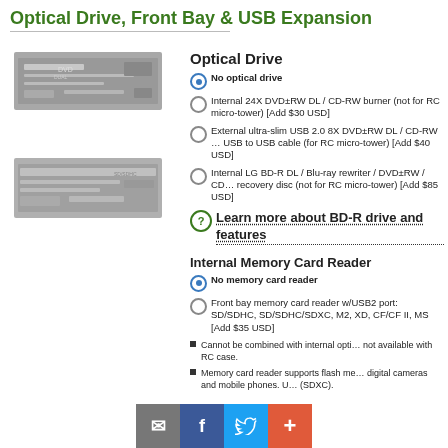Optical Drive, Front Bay & USB Expansion
Optical Drive
No optical drive
Internal 24X DVD±RW DL / CD-RW burner (not for RC micro-tower) [Add $30 USD]
External ultra-slim USB 2.0 8X DVD±RW DL / CD-RW … USB to USB cable (for RC micro-tower) [Add $40 USD]
Internal LG BD-R DL / Blu-ray rewriter / DVD±RW / CD … recovery disc (not for RC micro-tower) [Add $85 USD]
Learn more about BD-R drive and features
Internal Memory Card Reader
No memory card reader
Front bay memory card reader w/USB2 port: SD/SDHC, SD/SDHC/SDXC, M2, XD, CF/CF II, MS [Add $35 USD]
Cannot be combined with internal opti… not available with RC case.
Memory card reader supports flash me… digital cameras and mobile phones. U… (SDXC).
Email | Facebook | Twitter | +